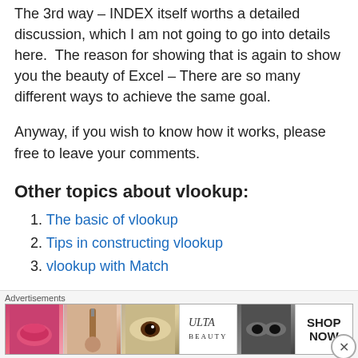The 3rd way – INDEX itself worths a detailed discussion, which I am not going to go into details here. The reason for showing that is again to show you the beauty of Excel – There are so many different ways to achieve the same goal.
Anyway, if you wish to know how it works, please free to leave your comments.
Other topics about vlookup:
1. The basic of vlookup
2. Tips in constructing vlookup
3. vlookup with Match
[Figure (other): Ulta beauty advertisement banner with makeup-themed images and SHOP NOW call to action]